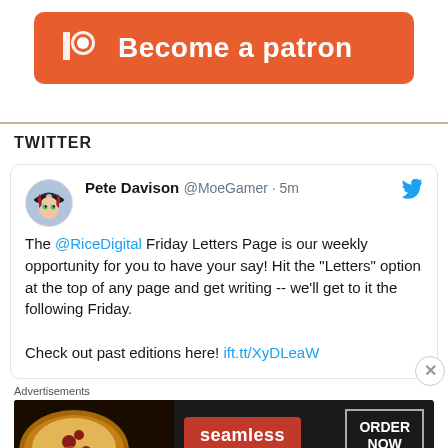[Figure (logo): Patreon 'Become a patron' button with Patreon logo icon on orange-red rounded rectangle background]
TWITTER
Pete Davison @MoeGamer · 5m
The @RiceDigital Friday Letters Page is our weekly opportunity for you to have your say! Hit the "Letters" option at the top of any page and get writing -- we'll get to it the following Friday.

Check out past editions here! ift.tt/XyDLeaW
[Figure (screenshot): Seamless food ordering advertisement banner with pizza image, Seamless brand logo and ORDER NOW button on dark background]
Advertisements